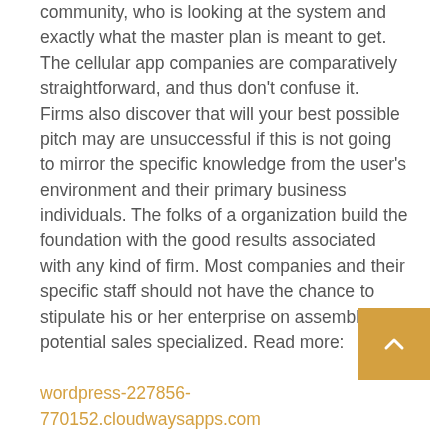community, who is looking at the system and exactly what the master plan is meant to get. The cellular app companies are comparatively straightforward, and thus don't confuse it. Firms also discover that will your best possible pitch may are unsuccessful if this is not going to mirror the specific knowledge from the user's environment and their primary business individuals. The folks of a organization build the foundation with the good results associated with any kind of firm. Most companies and their specific staff should not have the chance to stipulate his or her enterprise on assembly any potential sales specialized. Read more:
wordpress-227856-770152.cloudwaysapps.com